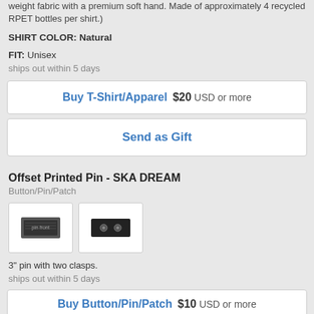weight fabric with a premium soft hand. Made of approximately 4 recycled RPET bottles per shirt.)
SHIRT COLOR: Natural
FIT: Unisex
ships out within 5 days
Buy T-Shirt/Apparel  $20 USD or more
Send as Gift
Offset Printed Pin - SKA DREAM
Button/Pin/Patch
[Figure (photo): Two thumbnail images of a printed pin product - front and back views]
3" pin with two clasps.
ships out within 5 days
Buy Button/Pin/Patch  $10 USD or more